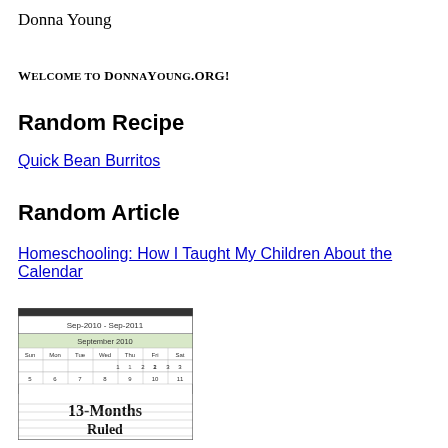Donna Young
Welcome to DonnaYoung.org!
Random Recipe
Quick Bean Burritos
Random Article
Homeschooling: How I Taught My Children About the Calendar
[Figure (other): 13-Months Ruled calendar thumbnail showing Sep-2010 to Sep-2011 with September 2010 calendar grid visible]